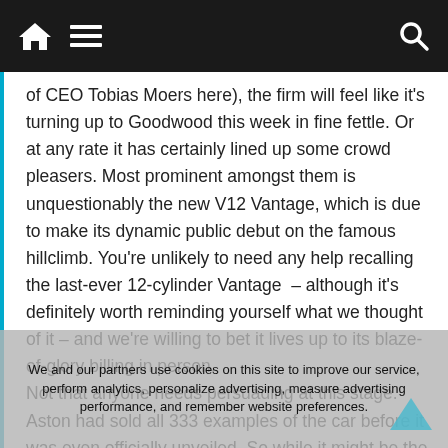Navigation bar with home, menu, and search icons
of CEO Tobias Moers here), the firm will feel like it's turning up to Goodwood this week in fine fettle. Or at any rate it has certainly lined up some crowd pleasers. Most prominent amongst them is unquestionably the new V12 Vantage, which is due to make its dynamic public debut on the famous hillclimb. You're unlikely to need any help recalling the last-ever 12-cylinder Vantage – although it's definitely worth reminding yourself what we thought of it – and we're willing to bet it lives up to its blaze-of-glory billing in person.

Not that anyone needs persuading at this stage. Aston had sold all 333 examples of the car before it was even officially unveiled. So while it might be the most significant car for spectators, the manufacturer is probably more interested in accruing goodwill for its undercard fighter – the 'world's fastest and most
We and our partners use cookies on this site to improve our service, perform analytics, personalize advertising, measure advertising performance, and remember website preferences.